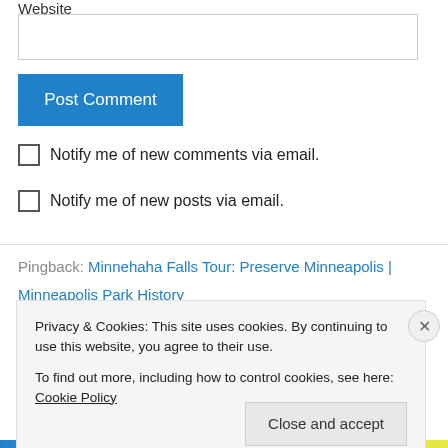Website
Post Comment
Notify me of new comments via email.
Notify me of new posts via email.
Pingback: Minnehaha Falls Tour: Preserve Minneapolis | Minneapolis Park History
Privacy & Cookies: This site uses cookies. By continuing to use this website, you agree to their use.
To find out more, including how to control cookies, see here: Cookie Policy
Close and accept